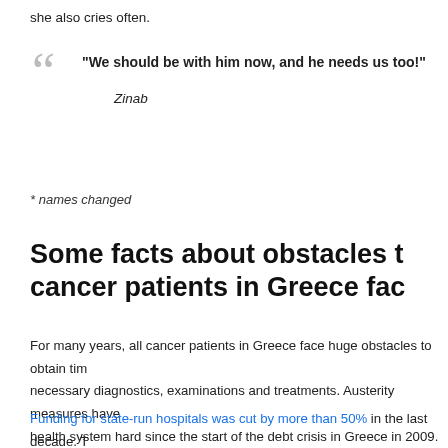she also cries often.
“We should be with him now, and he needs us too!” — Zinab
* names changed
Some facts about obstacles t… cancer patients in Greece fac…
For many years, all cancer patients in Greece face huge obstacles to obtain tim… necessary diagnostics, examinations and treatments. Austerity measures have… health system hard since the start of the debt crisis in Greece in 2009. Cancer… among the ones who suffer most.
Funding for state-run hospitals was cut by more than 50% in the last decade. T… severe shortages in everything, from sheets, gauzes and syringes, to doctors a… patients who can afford it, thus often turn to private health care. The others stru…